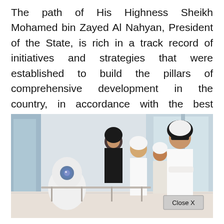The path of His Highness Sheikh Mohamed bin Zayed Al Nahyan, President of the State, is rich in a track record of initiatives and strategies that were established to build the pillars of comprehensive development in the country, in accordance with the best international standards and practices applied in the most advanced countries in the world.
[Figure (photo): A group of people including a man in white Emirati dress (thobe and keffiyeh) with sunglasses, a woman in black hijab, two men in white thobes, and a small white robot in the foreground. They appear to be at an indoor venue. A 'Close X' button overlay appears in the bottom right of the image.]